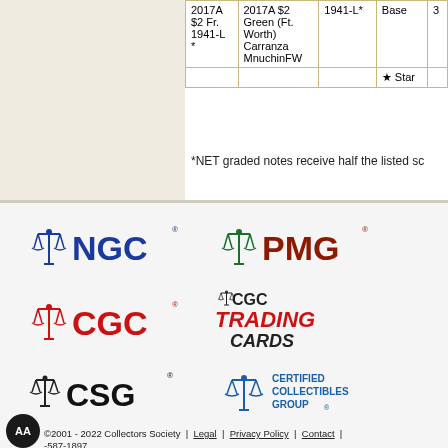| Series | Description | Fr. No. | Set | Col. |
| --- | --- | --- | --- | --- |
| 2017A $2 Fr. 1941-L * | 2017A $2 Green (Ft. Worth) Carranza MnuchinFW | 1941-L* | Base | 3 |
|  |  |  | ★ Star |  |
*NET graded notes receive half the listed sc
[Figure (logo): NGC (Numismatic Guaranty Company) logo - blue scales of justice icon with NGC text in blue]
[Figure (logo): PMG (Paper Money Guaranty) logo - green scales of justice icon with PMG text in dark red/maroon]
[Figure (logo): CGC logo - red scales of justice icon with CGC text in red]
[Figure (logo): CGC Trading Cards logo - black and red bold text logo]
[Figure (logo): CSG (Coin Grading Service) logo - black scales icon with CSG text]
[Figure (logo): Certified Collectibles Group logo - blue scales icon with text]
©2001 - 2022 Collectors Society | Legal | Privacy Policy | Contact | -587-1897